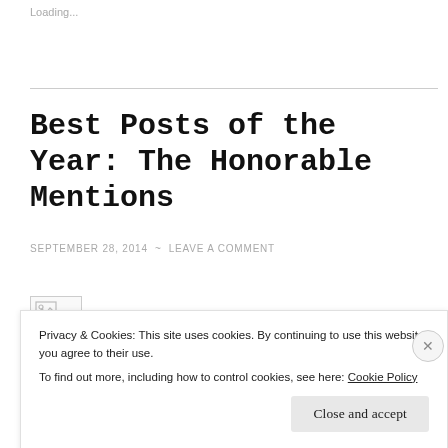Loading...
Best Posts of the Year: The Honorable Mentions
SEPTEMBER 28, 2014 ~ LEAVE A COMMENT
[Figure (other): Broken image placeholder icon (small image box with broken image icon in top-left corner)]
Privacy & Cookies: This site uses cookies. By continuing to use this website, you agree to their use.
To find out more, including how to control cookies, see here: Cookie Policy
Close and accept